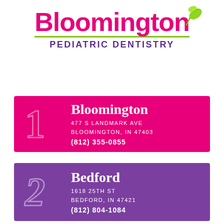[Figure (logo): Bloomington Pediatric Dentistry logo with pink bold 'Bloomington' text, green leaf graphic, green underline, and purple 'PEDIATRIC DENTISTRY' subtitle]
1
Bloomington
477 S LANDMARK AVE
BLOOMINGTON, IN 47403
(812) 355-0855
2
Bedford
1618 25TH ST
BEDFORD, IN 47421
(812) 804-1084